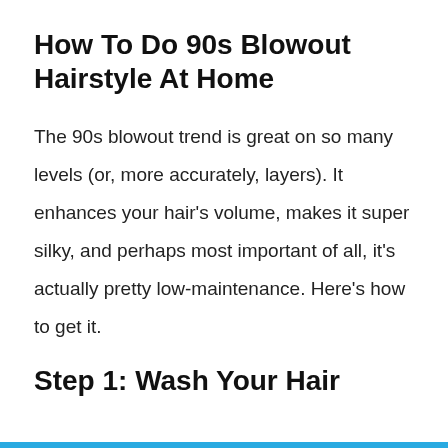How To Do 90s Blowout Hairstyle At Home
The 90s blowout trend is great on so many levels (or, more accurately, layers). It enhances your hair’s volume, makes it super silky, and perhaps most important of all, it's actually pretty low-maintenance. Here’s how to get it.
Step 1: Wash Your Hair